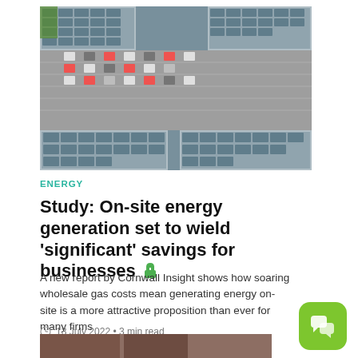[Figure (photo): Aerial view of a commercial building with solar panels on the roof and a parking lot with cars]
ENERGY
Study: On-site energy generation set to wield 'significant' savings for businesses 🔒
A new report by Cornwall Insight shows how soaring wholesale gas costs mean generating energy on-site is a more attractive proposition than ever for many firms
13 July 2022 • 3 min read
[Figure (photo): Partial view of another article image at bottom of page]